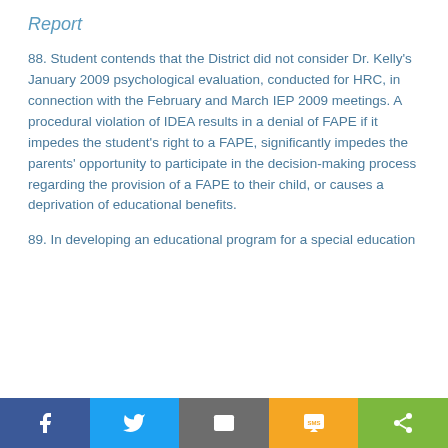Report
88. Student contends that the District did not consider Dr. Kelly's January 2009 psychological evaluation, conducted for HRC, in connection with the February and March IEP 2009 meetings. A procedural violation of IDEA results in a denial of FAPE if it impedes the student's right to a FAPE, significantly impedes the parents' opportunity to participate in the decision-making process regarding the provision of a FAPE to their child, or causes a deprivation of educational benefits.
89. In developing an educational program for a special education